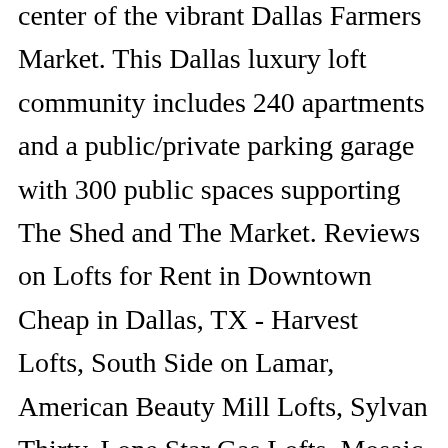center of the vibrant Dallas Farmers Market. This Dallas luxury loft community includes 240 apartments and a public/private parking garage with 300 public spaces supporting The Shed and The Market. Reviews on Lofts for Rent in Downtown Cheap in Dallas, TX - Harvest Lofts, South Side on Lamar, American Beauty Mill Lofts, Sylvan Thirty, Lone Star Gas Lofts, Mosaic Dallas, The Kirby, Third Rail Lofts, Deep Ellum Lofts, Maple District Lofts Adam Hats Lofts combines modern themes with old warehouse charm, providing its own character, and is as